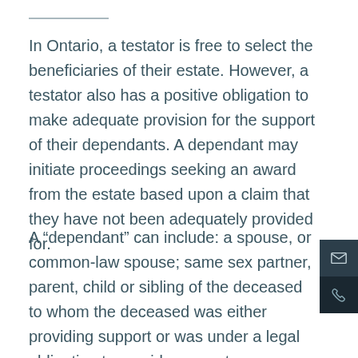In Ontario, a testator is free to select the beneficiaries of their estate. However, a testator also has a positive obligation to make adequate provision for the support of their dependants. A dependant may initiate proceedings seeking an award from the estate based upon a claim that they have not been adequately provided for.
A “dependant” can include: a spouse, or common-law spouse; same sex partner, parent, child or sibling of the deceased to whom the deceased was either providing support or was under a legal obligation to provide support